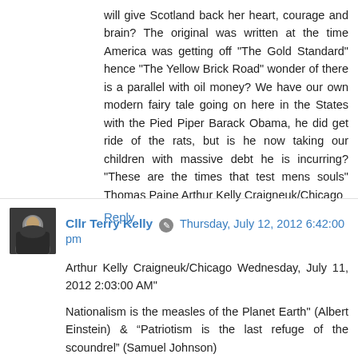will give Scotland back her heart, courage and brain? The original was written at the time America was getting off "The Gold Standard" hence "The Yellow Brick Road" wonder of there is a parallel with oil money? We have our own modern fairy tale going on here in the States with the Pied Piper Barack Obama, he did get ride of the rats, but is he now taking our children with massive debt he is incurring? "These are the times that test mens souls" Thomas Paine Arthur Kelly Craigneuk/Chicago
Reply
Cllr Terry Kelly  Thursday, July 12, 2012 6:42:00 pm
Arthur Kelly Craigneuk/Chicago Wednesday, July 11, 2012 2:03:00 AM"
Nationalism is the measles of the Planet Earth" (Albert Einstein) & “Patriotism is the last refuge of the scoundrel” (Samuel Johnson)
And Alex (the spiv) Salmond is no Thomas Paine, he is the worst kind of political scoundrel there is. The one who